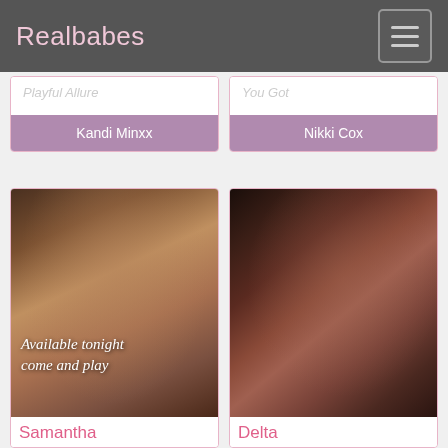Realbabes
Kandi Minxx
Nikki Cox
[Figure (photo): Woman with dark hair up, looking at camera, with overlay text 'Available tonight come and play']
Available tonight come and play
[Figure (photo): Woman with dark hair, smiling, wearing necklace, in reddish-brown top]
Samantha
Delta